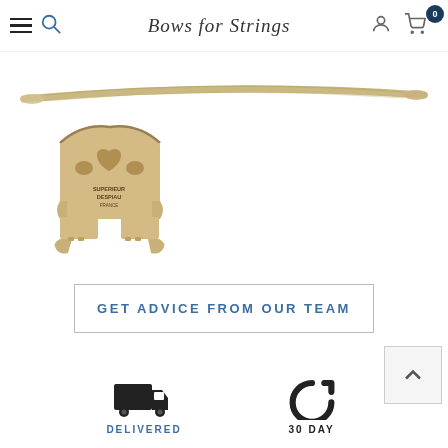Bows for Strings
[Figure (photo): Violin bow shown horizontally across the top of the page, pale wood color]
[Figure (photo): Violin bridge front view, pale maple wood, stamped SUPERIEUR DESPIAU FRANCE]
GET ADVICE FROM OUR TEAM
[Figure (illustration): Delivery truck icon (black silhouette)]
DELIVERED
[Figure (illustration): 30-day return/refresh circular arrow icon (black)]
30 DAY